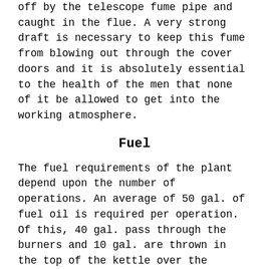off by the telescope fume pipe and caught in the flue. A very strong draft is necessary to keep this fume from blowing out through the cover doors and it is absolutely essential to the health of the men that none of it be allowed to get into the working atmosphere.
Fuel
The fuel requirements of the plant depend upon the number of operations. An average of 50 gal. of fuel oil is required per operation. Of this, 40 gal. pass through the burners and 10 gal. are thrown in the top of the kettle over the melting crystals.
Labor
The accompanying labor table is based on a crew sufficient to keep the operations up to the